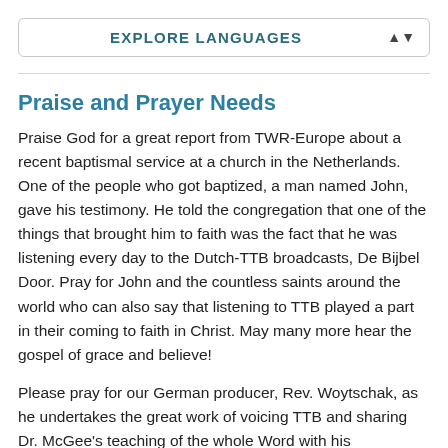EXPLORE LANGUAGES
Praise and Prayer Needs
Praise God for a great report from TWR-Europe about a recent baptismal service at a church in the Netherlands. One of the people who got baptized, a man named John, gave his testimony. He told the congregation that one of the things that brought him to faith was the fact that he was listening every day to the Dutch-TTB broadcasts, De Bijbel Door. Pray for John and the countless saints around the world who can also say that listening to TTB played a part in their coming to faith in Christ. May many more hear the gospel of grace and believe!
Please pray for our German producer, Rev. Woytschak, as he undertakes the great work of voicing TTB and sharing Dr. McGee's teaching of the whole Word with his